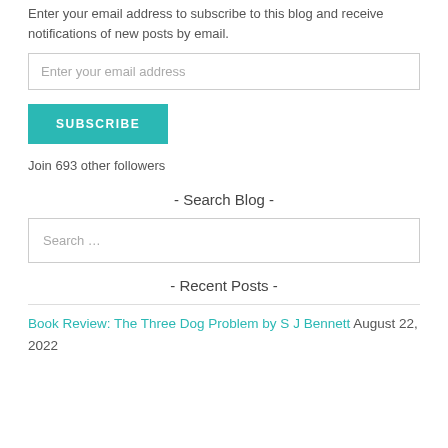Enter your email address to subscribe to this blog and receive notifications of new posts by email.
Enter your email address
SUBSCRIBE
Join 693 other followers
- Search Blog -
Search …
- Recent Posts -
Book Review: The Three Dog Problem by S J Bennett August 22, 2022